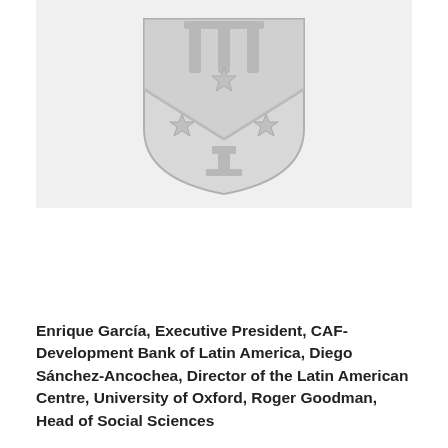[Figure (logo): University shield/coat of arms logo in gray tones, featuring vertical pillars at top, a chevron with stars, and a cross/T symbol at the bottom.]
Enrique García, Executive President, CAF-Development Bank of Latin America, Diego Sánchez-Ancochea, Director of the Latin American Centre, University of Oxford, Roger Goodman, Head of Social Sciences